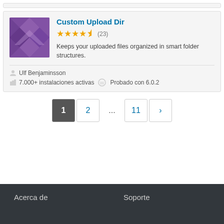[Figure (illustration): Custom Upload Dir plugin icon - purple geometric diamond pattern]
Custom Upload Dir
★★★★½ (23)
Keeps your uploaded files organized in smart folder structures.
Ulf Benjaminsson
7.000+ instalaciones activas  Probado con 6.0.2
1
2
...
11
›
Acerca de
Soporte